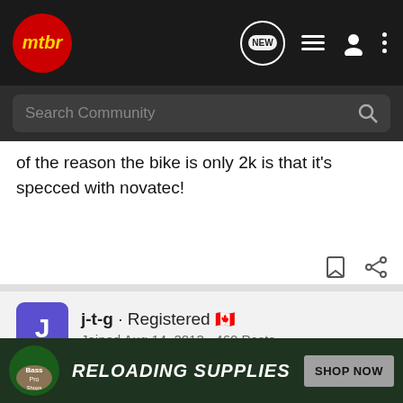[Figure (screenshot): MTBR community forum website header with logo, navigation icons (NEW chat bubble, list, user, dots menu), search bar labeled 'Search Community']
of the reason the bike is only 2k is that it's specced with novatec!
j-t-g · Registered 🇨🇦
Joined Aug 14, 2013 · 460 Posts
#3 · May 12, 2019
It's really not a problem exclusive to Norco. Novatec can be a nightmare and we've more or less only had problems with them (In Canada). There's a lot of other manufacturers running Novatec...
[Figure (screenshot): Bass Pro Shops advertisement banner: 'RELOADING SUPPLIES' with 'SHOP NOW' button on dark green background]